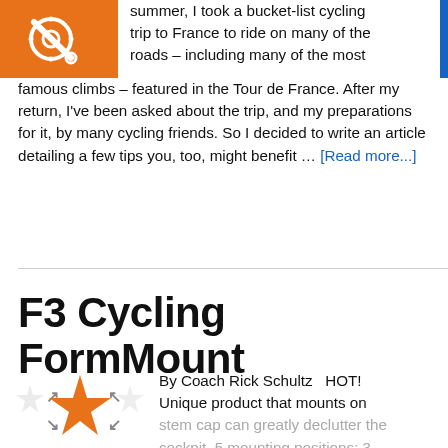[Figure (logo): Orange square icon with a bicycle/cycling crossed-out symbol (white chain ring and wrench cross)]
summer, I took a bucket-list cycling trip to France to ride on many of the roads – including many of the most famous climbs – featured in the Tour de France. After my return, I've been asked about the trip, and my preparations for it, by many cycling friends. So I decided to write an article detailing a few tips you, too, might benefit … [Read more...]
F3 Cycling FormMount
[Figure (illustration): Star rating graphic showing approximately 1.5 out of 5 stars — one filled orange star, one partial/light orange star, rest empty/faint]
By Coach Rick Schultz   HOT! Unique product that mounts on stem cap can greatly declutter the cockpit. 5 mounting positions; 3 ...